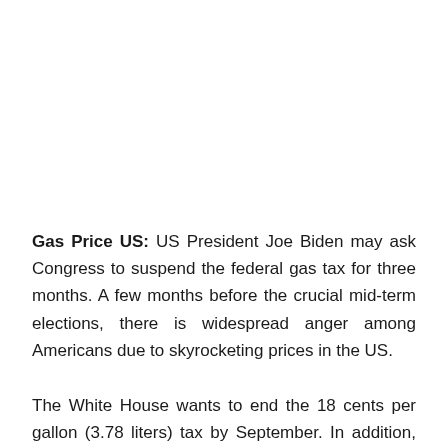Gas Price US: US President Joe Biden may ask Congress to suspend the federal gas tax for three months. A few months before the crucial mid-term elections, there is widespread anger among Americans due to skyrocketing prices in the US.
The White House wants to end the 18 cents per gallon (3.78 liters) tax by September. In addition, the White House will ask